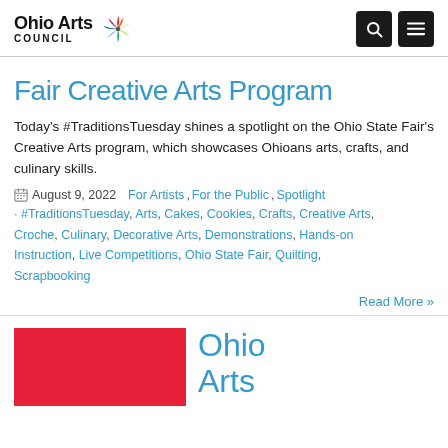Ohio Arts Council
Fair Creative Arts Program
Today's #TraditionsTuesday shines a spotlight on the Ohio State Fair's Creative Arts program, which showcases Ohioans arts, crafts, and culinary skills.
August 9, 2022   For Artists, For the Public, Spotlight · #TraditionsTuesday, Arts, Cakes, Cookies, Crafts, Creative Arts, Croche, Culinary, Decorative Arts, Demonstrations, Hands-on Instruction, Live Competitions, Ohio State Fair, Quilting, Scrapbooking
Read More »
[Figure (photo): Red background image for Ohio Arts Council article]
Ohio Arts